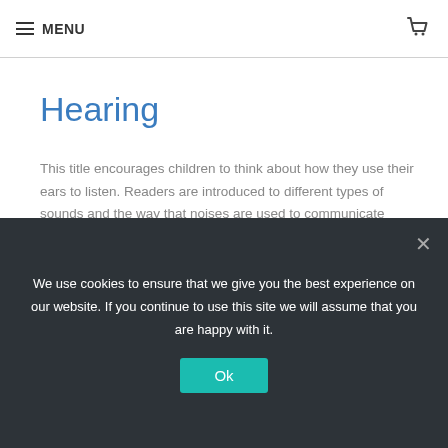MENU
Hearing
This title encourages children to think about how they use their ears to listen. Readers are introduced to different types of sounds and the way that noises are used to communicate thoughts or feelings. They are also asked to think about how they use...
£6.99  £3.50
We use cookies to ensure that we give you the best experience on our website. If you continue to use this site we will assume that you are happy with it.